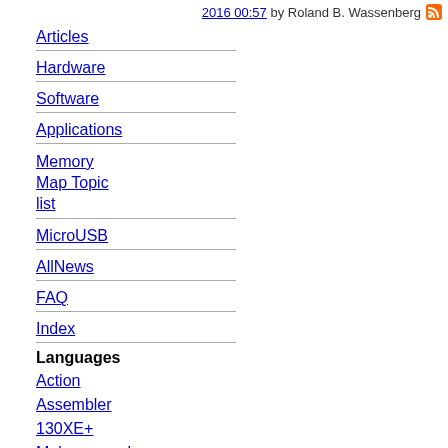2016 00:57 by Roland B. Wassenberg [RSS]
Articles
Hardware
Software
Applications
Memory Map Topic list
MicroUSB
AllNews
FAQ
Index
Languages
Action
Assembler
130XE+
Makroassemb